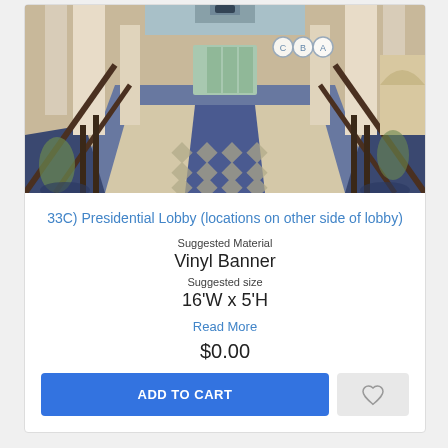[Figure (photo): Interior photo of a hotel Presidential Lobby showing a long corridor with blue and white patterned tile/carpet floor, tall white columns, staircases on the sides, and high ceilings. Three circular location markers labeled C, B, A are visible near the top.]
33C) Presidential Lobby (locations on other side of lobby)
Suggested Material
Vinyl Banner
Suggested size
16'W x 5'H
Read More
$0.00
ADD TO CART